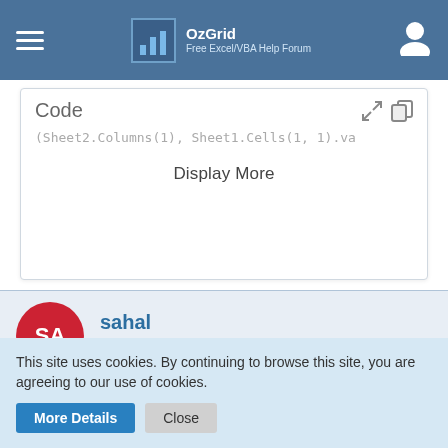[Figure (screenshot): OzGrid navigation bar with hamburger menu, logo, and user icon]
Code
(Sheet2.Columns(1), Sheet1.Cells(1, 1).va
Display More
SA
sahal
Beginner
Feb 3rd 2017
Re: Vlookups, Vba, Multiple results
This site uses cookies. By continuing to browse this site, you are agreeing to our use of cookies.
More Details
Close